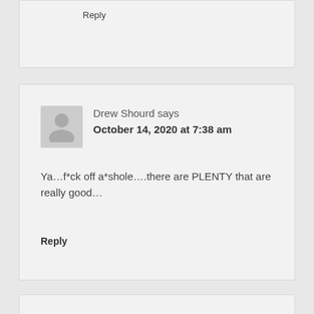Reply
Drew Shourd says
October 14, 2020 at 7:38 am
Ya…f*ck off a*shole….there are PLENTY that are really good…
Reply